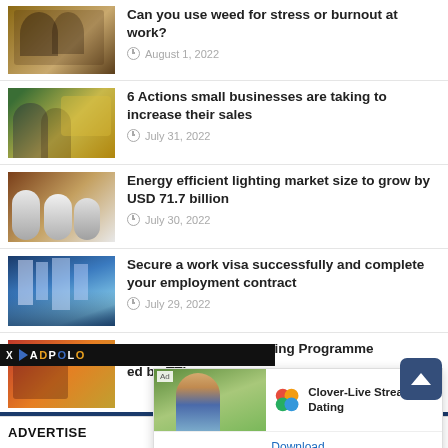[Figure (photo): Two people working together, writing at a desk]
Can you use weed for stress or burnout at work?
August 1, 2022
[Figure (photo): Two people in a grocery store near produce]
6 Actions small businesses are taking to increase their sales
July 31, 2022
[Figure (photo): Energy efficient light bulbs on a brown background]
Energy efficient lighting market size to grow by USD 71.7 billion
July 30, 2022
[Figure (photo): Aerial view of a city with skyscrapers and water]
Secure a work visa successfully and complete your employment contract
July 29, 2022
[Figure (photo): Red construction or industrial equipment]
Tourism Oriented Policing Programme
ed by TTI
[Figure (screenshot): Ad overlay: ADPOLO banner and Clover-Live Stream Dating advertisement popup with Download link]